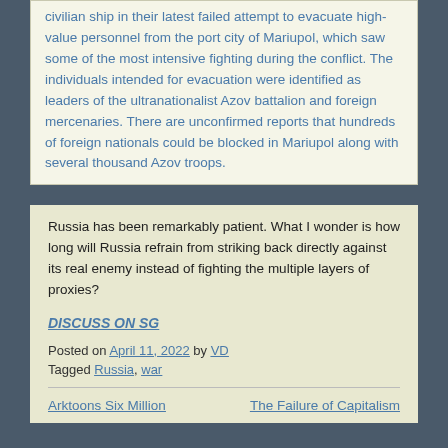civilian ship in their latest failed attempt to evacuate high-value personnel from the port city of Mariupol, which saw some of the most intensive fighting during the conflict. The individuals intended for evacuation were identified as leaders of the ultranationalist Azov battalion and foreign mercenaries. There are unconfirmed reports that hundreds of foreign nationals could be blocked in Mariupol along with several thousand Azov troops.
Russia has been remarkably patient. What I wonder is how long will Russia refrain from striking back directly against its real enemy instead of fighting the multiple layers of proxies?
DISCUSS ON SG
Posted on April 11, 2022 by VD
Tagged Russia, war
Arktoons Six Million
The Failure of Capitalism